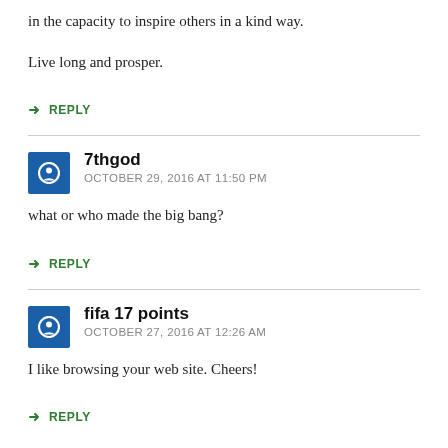in the capacity to inspire others in a kind way.
Live long and prosper.
↳ REPLY
7thgod
OCTOBER 29, 2016 AT 11:50 PM
what or who made the big bang?
↳ REPLY
fifa 17 points
OCTOBER 27, 2016 AT 12:26 AM
I like browsing your web site. Cheers!
↳ REPLY